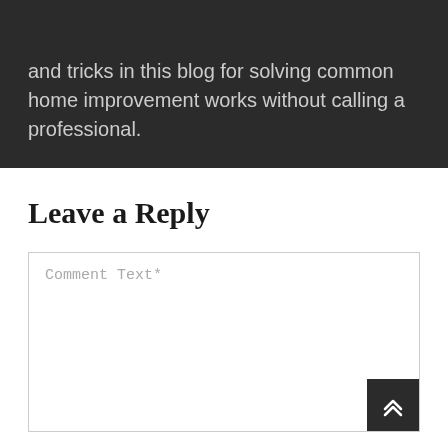and tricks in this blog for solving common home improvement works without calling a professional.
Leave a Reply
Comment Text*